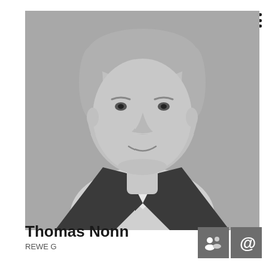[Figure (photo): Black and white headshot portrait of Thomas Nonn, a middle-aged man with short grey hair, wearing a dark blazer and light-colored shirt, smiling slightly against a grey background.]
Thomas Nonn
REWE G...